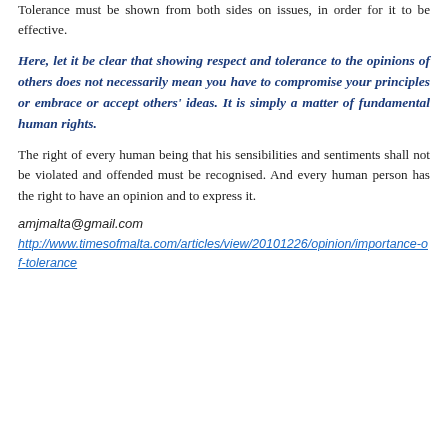Tolerance must be shown from both sides on issues, in order for it to be effective.
Here, let it be clear that showing respect and tolerance to the opinions of others does not necessarily mean you have to compromise your principles or embrace or accept others' ideas. It is simply a matter of fundamental human rights.
The right of every human being that his sensibilities and sentiments shall not be violated and offended must be recognised. And every human person has the right to have an opinion and to express it.
amjmalta@gmail.com
http://www.timesofmalta.com/articles/view/20101226/opinion/importance-of-tolerance